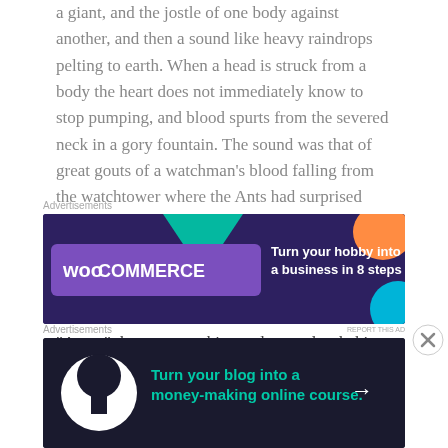a giant, and the jostle of one body against another, and then a sound like heavy raindrops pelting to earth. When a head is struck from a body the heart does not immediately know to stop pumping, and blood spurts from the severed neck in a gory fountain. The sound was that of great gouts of a watchman's blood falling from the watchtower where the Ants had surprised him onto the ground below.
[Figure (other): WooCommerce advertisement banner: dark purple background with teal and orange geometric shapes. WooCommerce logo on left, text 'Turn your hobby into a business in 8 steps' on right.]
“Anne,” the woman whispered urgently, shaking the little girl awake. “Up, up!”
The child stumbled sleepily from the pallet. She knew
[Figure (other): Advertisement banner: dark navy background with tree/person icon on left in white circle, text 'Turn your blog into a money-making online course.' with arrow on right.]